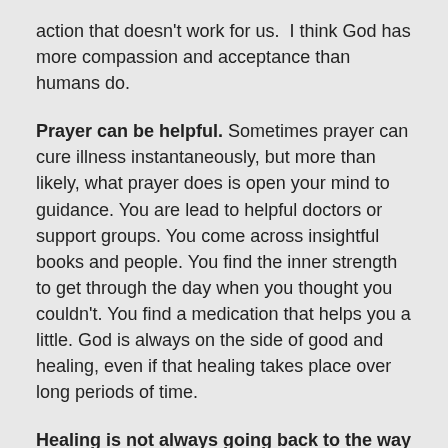action that doesn't work for us.  I think God has more compassion and acceptance than humans do.
Prayer can be helpful. Sometimes prayer can cure illness instantaneously, but more than likely, what prayer does is open your mind to guidance. You are lead to helpful doctors or support groups. You come across insightful books and people. You find the inner strength to get through the day when you thought you couldn't. You find a medication that helps you a little. God is always on the side of good and healing, even if that healing takes place over long periods of time.
Healing is not always going back to the way it was before. Healing does not always mean that everything will be erased and perfect as it was before. Healing can take on many forms. Be open to the different ways it can